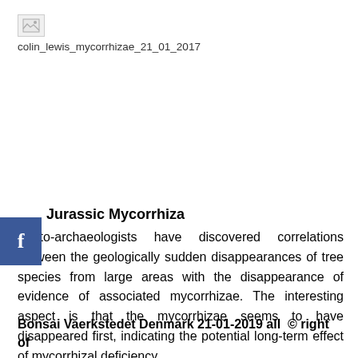[Figure (photo): Broken/placeholder image icon for colin_lewis_mycorrhizae_21_01_2017]
colin_lewis_mycorrhizae_21_01_2017
Jurassic Mycorrhiza
Phyto-archaeologists have discovered correlations between the geologically sudden disappearances of tree species from large areas with the disappearance of evidence of associated mycorrhizae. The interesting aspect is that the mycorrhizae seems to have disappeared first, indicating the potential long-term effect of mycorrhizal deficiency.
Bonsai Vaerkstedet Denmark 21-01-2019 all  © right of